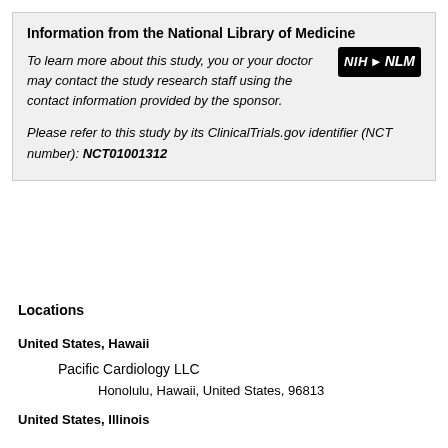Information from the National Library of Medicine

To learn more about this study, you or your doctor may contact the study research staff using the contact information provided by the sponsor.

Please refer to this study by its ClinicalTrials.gov identifier (NCT number): NCT01001312
Locations
United States, Hawaii
Pacific Cardiology LLC
Honolulu, Hawaii, United States, 96813
United States, Illinois